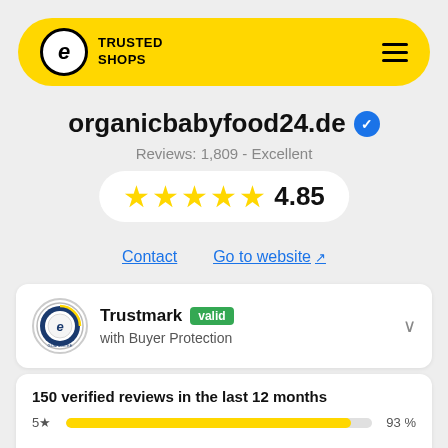Trusted Shops
organicbabyfood24.de
Reviews: 1,809 - Excellent
4.85 (5 stars)
Contact   Go to website
Trustmark valid with Buyer Protection
150 verified reviews in the last 12 months
5★   93 %